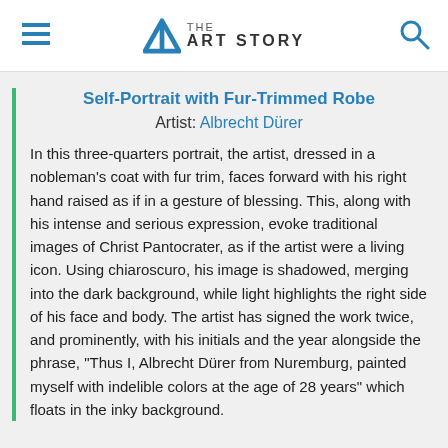THE ART STORY
Self-Portrait with Fur-Trimmed Robe
Artist: Albrecht Dürer
In this three-quarters portrait, the artist, dressed in a nobleman's coat with fur trim, faces forward with his right hand raised as if in a gesture of blessing. This, along with his intense and serious expression, evoke traditional images of Christ Pantocrater, as if the artist were a living icon. Using chiaroscuro, his image is shadowed, merging into the dark background, while light highlights the right side of his face and body. The artist has signed the work twice, and prominently, with his initials and the year alongside the phrase, "Thus I, Albrecht Dürer from Nuremburg, painted myself with indelible colors at the age of 28 years" which floats in the inky background.